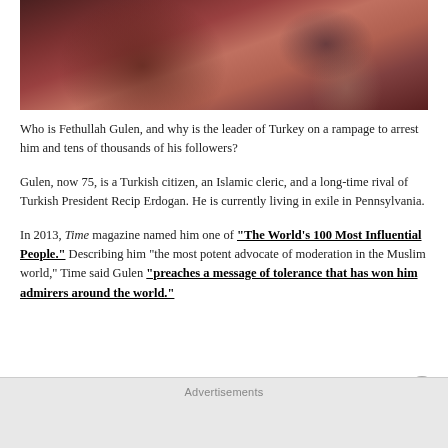[Figure (photo): Photograph of Fethullah Gulen seated, wearing dark clothing, with a microphone visible]
Who is Fethullah Gulen, and why is the leader of Turkey on a rampage to arrest him and tens of thousands of his followers?
Gulen, now 75, is a Turkish citizen, an Islamic cleric, and a long-time rival of Turkish President Recip Erdogan. He is currently living in exile in Pennsylvania.
In 2013, Time magazine named him one of “The World’s 100 Most Influential People.” Describing him “the most potent advocate of moderation in the Muslim world,” Time said Gulen “preaches a message of tolerance that has won him admirers around the world.”
Advertisements